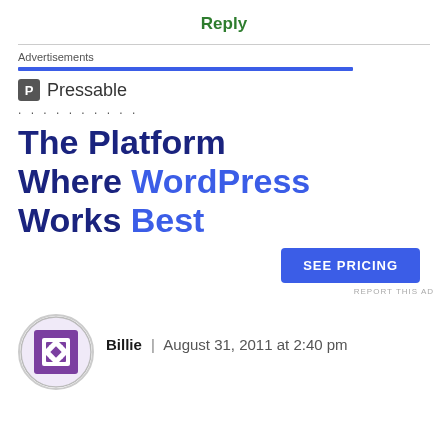Reply
Advertisements
[Figure (screenshot): Pressable advertisement banner showing logo, dotted separator, headline 'The Platform Where WordPress Works Best', and 'SEE PRICING' button]
REPORT THIS AD
Billie | August 31, 2011 at 2:40 pm